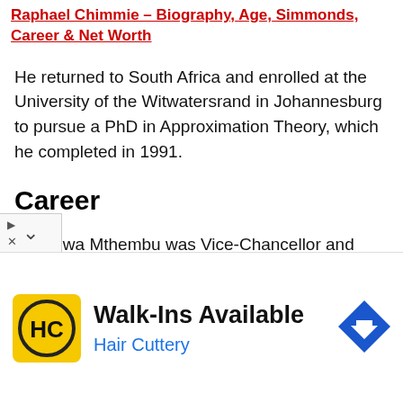Raphael Chimmie – Biography, Age, Simmonds, Career & Net Worth
He returned to South Africa and enrolled at the University of the Witwatersrand in Johannesburg to pursue a PhD in Approximation Theory, which he completed in 1991.
Career
Thandwa Mthembu was Vice-Chancellor and Principal of Central University of Technology (CUT) in the Free State for almost ten years before joining the DUT
[Figure (other): Advertisement banner for Hair Cuttery featuring HC logo, 'Walk-Ins Available' text, Hair Cuttery name, and a blue navigation direction sign icon.]